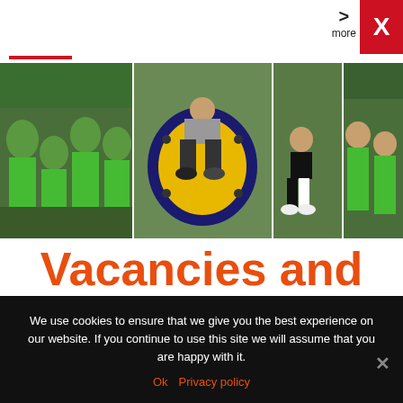more ×
[Figure (photo): Group of volunteers in green t-shirts at an outdoor playground. Left panel shows a large group posed together; center panel shows someone on a large yellow and black cylindrical structure; right panels show individuals on playground equipment and another group posed together.]
Vacancies and Volunteering
We use cookies to ensure that we give you the best experience on our website. If you continue to use this site we will assume that you are happy with it.
Ok   Privacy policy